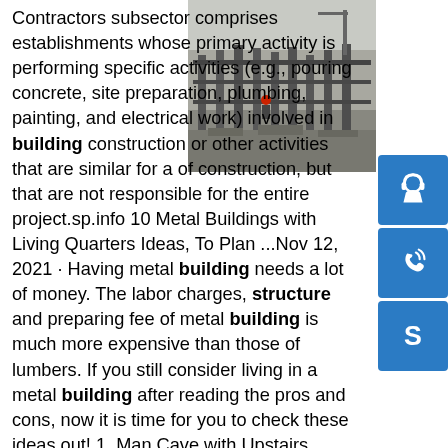Contractors subsector comprises establishments whose primary activity is performing specific activities (e.g., pouring concrete, site preparation, plumbing, painting, and electrical work) involved in building construction or other activities that are similar for a of construction, but that are not responsible for the entire project.sp.info 10 Metal Buildings with Living Quarters Ideas, To Plan ...Nov 12, 2021 · Having metal building needs a lot of money. The labor charges, structural and preparing fee of metal building is much more expensive than those of lumbers. If you still consider living in a metal building after reading the pros and cons, now it is time for you to check these ideas out! 1. Man Cave with Upstairs Living Quarters Image source ...sp.info Frame Machine-China Frame Machine Manufacturers ...China Frame Machine - Select 2021 Frame Machine products
[Figure (photo): Construction site with metal structural columns and beams, workers in background, heavy machinery visible]
[Figure (other): Blue icon button - headset/customer support icon]
[Figure (other): Blue icon button - phone/call icon]
[Figure (other): Blue icon button - Skype icon]